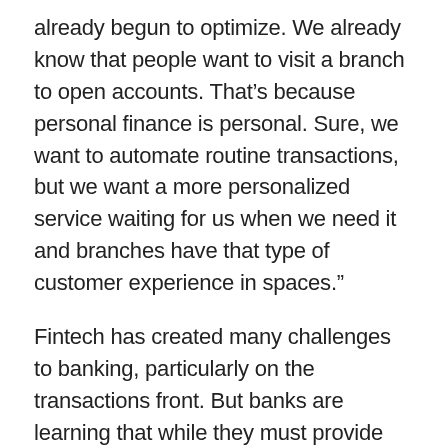already begun to optimize. We already know that people want to visit a branch to open accounts. That’s because personal finance is personal. Sure, we want to automate routine transactions, but we want a more personalized service waiting for us when we need it and branches have that type of customer experience in spaces.”
Fintech has created many challenges to banking, particularly on the transactions front. But banks are learning that while they must provide seamless transactions and build platforms to meet consumer demand, they have already built something that no startup can touch. Sean Keathley says, “A strong branch network really provides the perfect setting to build robust relationships with local customers and demonstrate a community commitment that no amount of fintech savvy can replicate. By